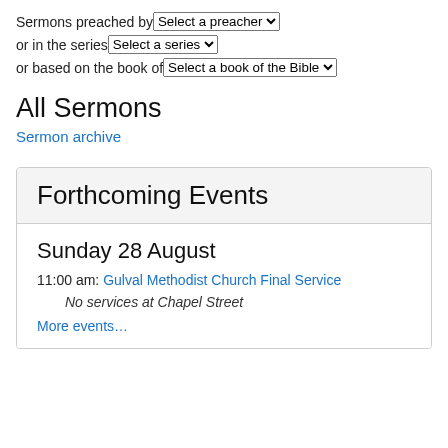Sermons preached by [Select a preacher]
or in the series [Select a series]
or based on the book of [Select a book of the Bible]
All Sermons
Sermon archive
Forthcoming Events
Sunday 28 August
11:00 am: Gulval Methodist Church Final Service
No services at Chapel Street
More events…